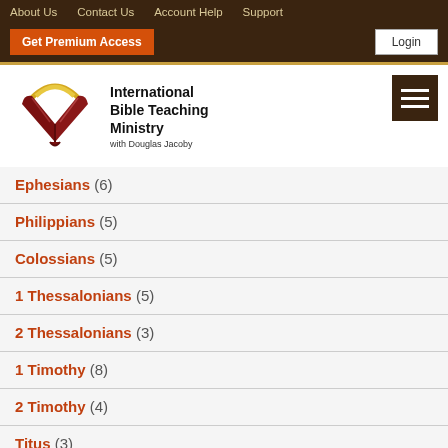About Us  Contact Us  Account Help  Support
Get Premium Access  Login
[Figure (logo): International Bible Teaching Ministry logo with open book and halo, with Douglas Jacoby text]
Ephesians (6)
Philippians (5)
Colossians (5)
1 Thessalonians (5)
2 Thessalonians (3)
1 Timothy (8)
2 Timothy (4)
Titus (3)